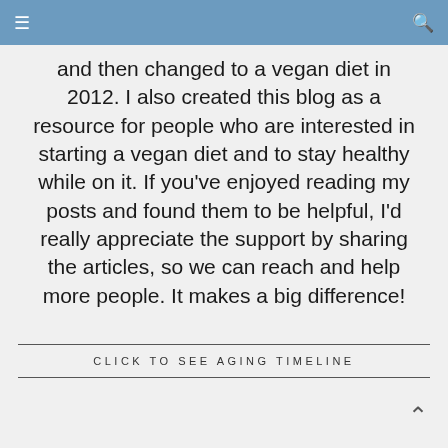≡  🔍
and then changed to a vegan diet in 2012. I also created this blog as a resource for people who are interested in starting a vegan diet and to stay healthy while on it. If you've enjoyed reading my posts and found them to be helpful, I'd really appreciate the support by sharing the articles, so we can reach and help more people. It makes a big difference!
CLICK TO SEE AGING TIMELINE